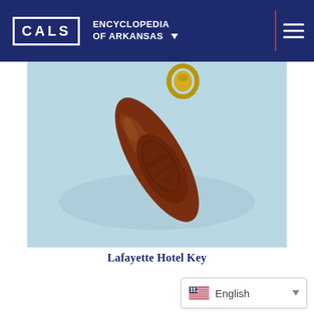CALS ENCYCLOPEDIA OF ARKANSAS
[Figure (photo): Close-up photograph of a Lafayette Hotel key fob — a brown leather teardrop-shaped tag with embossed text, attached to a brass ring, lying on a light blue surface.]
Lafayette Hotel Key